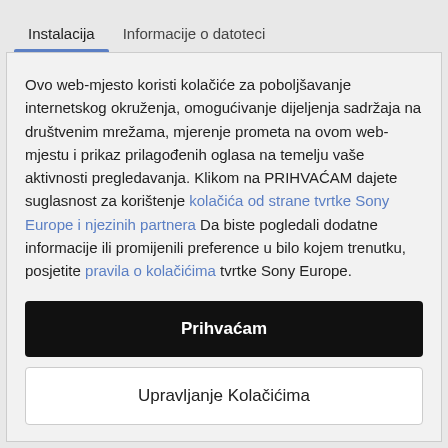Instalacija	Informacije o datoteci
Ovo web-mjesto koristi kolačiće za poboljšavanje internetskog okruženja, omogućivanje dijeljenja sadržaja na društvenim mrežama, mjerenje prometa na ovom web-mjestu i prikaz prilagođenih oglasa na temelju vaše aktivnosti pregledavanja. Klikom na PRIHVAĆAM dajete suglasnost za korištenje kolačića od strane tvrtke Sony Europe i njezinih partnera Da biste pogledali dodatne informacije ili promijenili preference u bilo kojem trenutku, posjetite pravila o kolačićima tvrtke Sony Europe.
Prihvaćam
Upravljanje Kolačićima